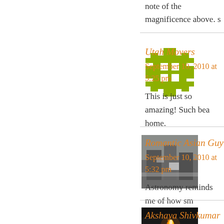note of the magnificence above. s
Utah Movers
September 10, 2010 at 5:25 pm
This is just so amazing! Such bea home.

Sherri
[Figure (illustration): Green pixel-art star/snowflake avatar icon for Utah Movers]
Romantic Asian Guy
September 10, 2010 at 5:32 pm
Astronomy reminds me of how sm there.
[Figure (photo): Photo of people at a table for Romantic Asian Guy avatar]
Akshaya Shivkumar
September 10, 2010 at 5:49 pm
Sky-gazing in the presence of the remind me of flashes of blinding s